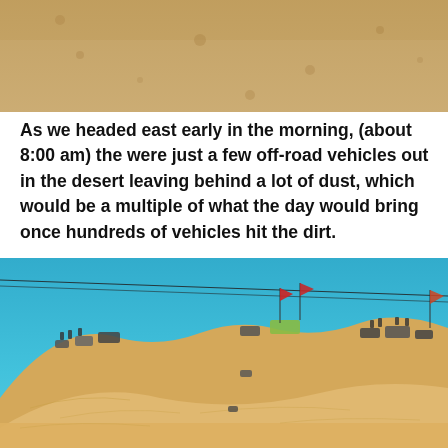[Figure (photo): Aerial or close-up view of sandy desert terrain, tan/brown sand texture filling the frame]
As we headed east early in the morning, (about 8:00 am) the were just a few off-road vehicles out in the desert leaving behind a lot of dust, which would be a multiple of what the day would bring once hundreds of vehicles hit the dirt.
[Figure (photo): Photo of sand dunes under a bright blue sky with off-road vehicles and ATVs gathered on the ridge of the dunes, colorful flags visible, power lines crossing the sky]